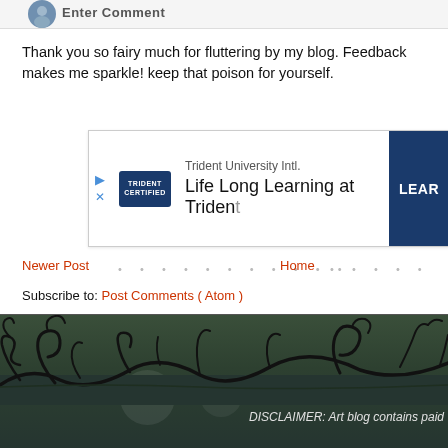Enter Comment
Thank you so fairy much for fluttering by my blog. Feedback makes me sparkle! keep that poison for yourself.
[Figure (screenshot): Advertisement banner for Trident University Intl. showing logo, text 'Life Long Learning at Trident' and a dark blue 'LEARN' button.]
Newer Post . . . . . . . . . . . . . Home . . . . .
Subscribe to: Post Comments ( Atom )
[Figure (illustration): Dark decorative vine/branch silhouette illustration against a dark green gradient background with circular lens flare effects.]
DISCLAIMER: Art blog contains paid